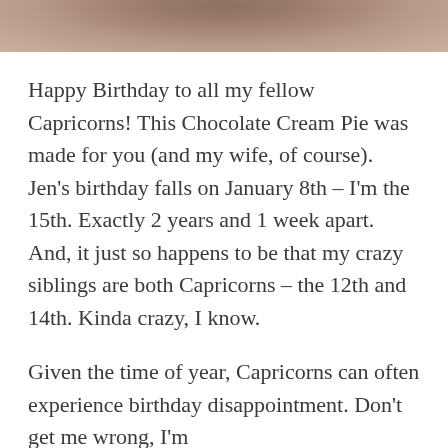[Figure (photo): Top portion of a photo, likely showing a chocolate cream pie or food item on a surface, cropped to show only the top strip.]
Happy Birthday to all my fellow Capricorns! This Chocolate Cream Pie was made for you (and my wife, of course). Jen's birthday falls on January 8th – I'm the 15th. Exactly 2 years and 1 week apart. And, it just so happens to be that my crazy siblings are both Capricorns – the 12th and 14th. Kinda crazy, I know.
Given the time of year, Capricorns can often experience birthday disappointment. Don't get me wrong, I'm